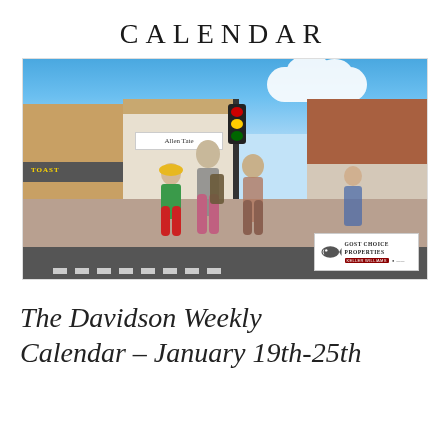Calendar
[Figure (photo): Street-level photo of a small-town main street in Davidson, NC. People walking across a crosswalk, storefronts including Allen Tate realty and Toast restaurant, traffic light, brick buildings, sunny blue sky with clouds. A 'Gost Choice Properties' logo overlay appears in the bottom-right corner.]
The Davidson Weekly Calendar – January 19th-25th